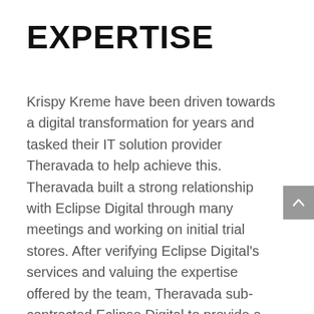EXPERTISE
Krispy Kreme have been driven towards a digital transformation for years and tasked their IT solution provider Theravada to help achieve this. Theravada built a strong relationship with Eclipse Digital through many meetings and working on initial trial stores. After verifying Eclipse Digital's services and valuing the expertise offered by the team, Theravada sub-contracted Eclipse Digital to provide a variety of Digital Signage services including hardware architecture, supply and commissioning, LED installation and ongoing support.